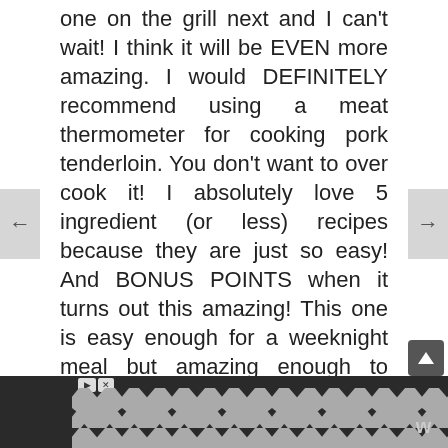one on the grill next and I can't wait!  I think it will be EVEN more amazing.  I would DEFINITELY recommend using a meat thermometer for cooking pork tenderloin.  You  don't want to over cook it!   I absolutely love 5 ingredient (or less) recipes because they are just so easy! And BONUS POINTS when it turns out this amazing!  This one is easy enough for a weeknight meal but amazing enough to serve to company.  We served this with White Cheddar Mac and Cheese and Southern Style Green Beans the first time, and Fried Potatoes and Garlic Butter Baby Brussels Sprouts the second time.  I hope you all love this recipe as much as we do!
[Figure (other): Advertisement banner with chevron/diamond pattern in gray on dark background, with close/play icons and a W logo]